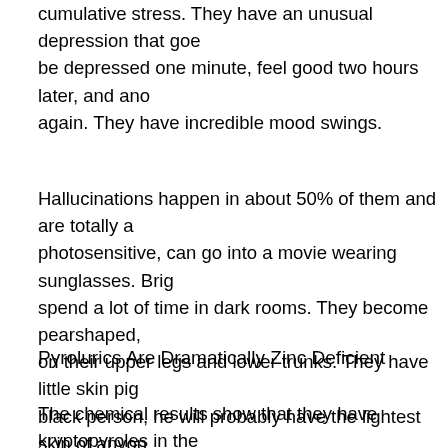cumulative stress. They have an unusual depression that goes and goes. They can be depressed one minute, feel good two hours later, and another hour depressed again. They have incredible mood swings.
Hallucinations happen in about 50% of them and are totally audible. They are photosensitive, can go into a movie wearing sunglasses. Bright light bothers them, spend a lot of time in dark rooms. They become pearshaped, build up fat on their upper legs and lower trunks. They have little skin pigment. If there's a black person, he will probably have the lightest skin of anyone in his family.
Pyrolurics Are Dramatically Zinc Deficient
The chemical results show that they have kryptopyroles in their urine. It's a hemoglobin metabolism, the synthesis of hemoglobin in your body. The time hemoglobin is born and dies takes up to six weeks. The body is always making more hemoglobin. Some people have an excess of this hemoglobin metabolism which is called kryptopyrole or abnormal pyrole. These do nothing in the bloodstream as the body is trying to get rid of them. In the bloodstream, it binds with them, and the major chemical that binds